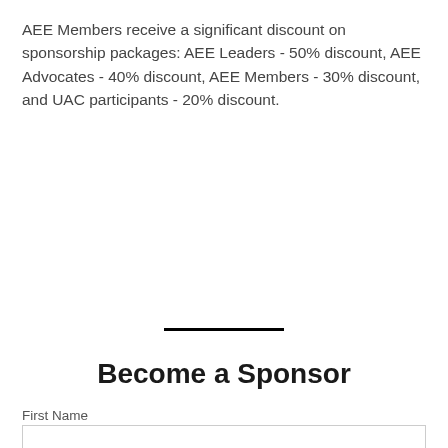AEE Members receive a significant discount on sponsorship packages: AEE Leaders - 50% discount, AEE Advocates - 40% discount, AEE Members - 30% discount, and UAC participants - 20% discount.
Become a Sponsor
First Name